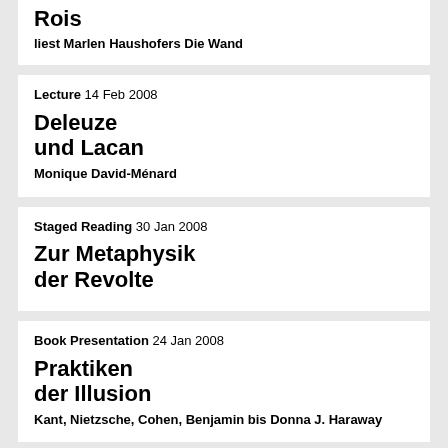Rois
liest Marlen Haushofers Die Wand
Lecture 14 Feb 2008
Deleuze und Lacan
Monique David-Ménard
Staged Reading 30 Jan 2008
Zur Metaphysik der Revolte
Book Presentation 24 Jan 2008
Praktiken der Illusion
Kant, Nietzsche, Cohen, Benjamin bis Donna J. Haraway